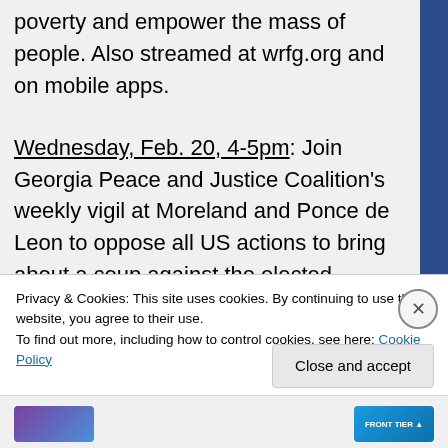poverty and empower the mass of people. Also streamed at wrfg.org and on mobile apps.
Wednesday, Feb. 20, 4-5pm: Join Georgia Peace and Justice Coalition's weekly vigil at Moreland and Ponce de Leon to oppose all US actions to bring about a coup against the elected president, Nicolas Maduro in Venezuela..
Friday, Feb. 22, noon-1pm: Colony Square Peace vigil at Peachtree and 15th St. No War on Venezuela!
Privacy & Cookies: This site uses cookies. By continuing to use this website, you agree to their use.
To find out more, including how to control cookies, see here: Cookie Policy
Close and accept